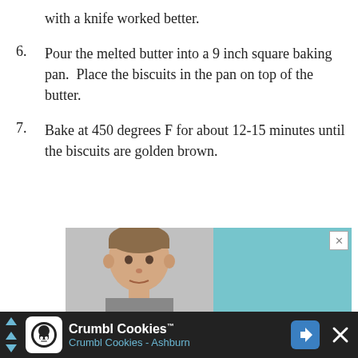with a knife worked better.
6. Pour the melted butter into a 9 inch square baking pan.  Place the biscuits in the pan on top of the butter.
7. Bake at 450 degrees F for about 12-15 minutes until the biscuits are golden brown.
[Figure (photo): Advertisement with a photo of a young boy on a light gray background on the left half, and a solid light blue/teal rectangle on the right half, with a small X close button in the top right corner.]
[Figure (infographic): Ad banner at bottom: Crumbl Cookies advertisement with cookie logo icon, text 'Crumbl Cookies' and 'Crumbl Cookies - Ashburn', blue navigation arrow icon, and close X button on dark background.]